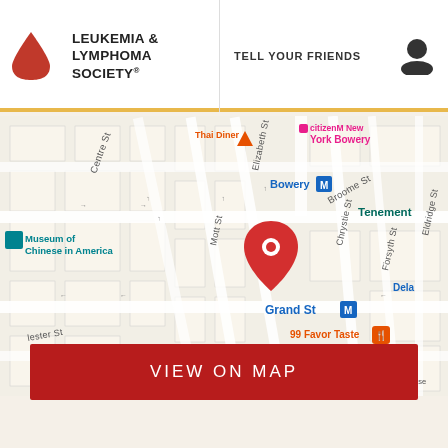LEUKEMIA & LYMPHOMA SOCIETY® | TELL YOUR FRIENDS
[Figure (map): Google Maps screenshot showing Lower Manhattan/Chinatown area with a red location pin near Elizabeth St and Broome St. Visible labels include: Thai Diner, citizenM New York Bowery, Centre St, Broome St, Bowery M (subway), Museum of Chinese in America, Elizabeth St, Mott St, Chrystie St, Forsyth St, Eldridge St, Tenement, Grand St M (subway), 99 Favor Taste, Google logo, Keyboard shortcuts, Map data ©2022 Google, Terms of Use]
VIEW ON MAP